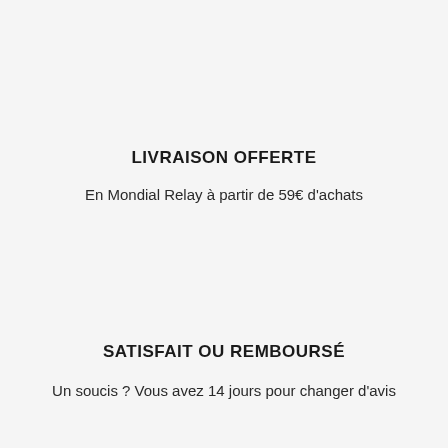LIVRAISON OFFERTE
En Mondial Relay à partir de 59€ d'achats
SATISFAIT OU REMBOURSÉ
Un soucis ? Vous avez 14 jours pour changer d'avis